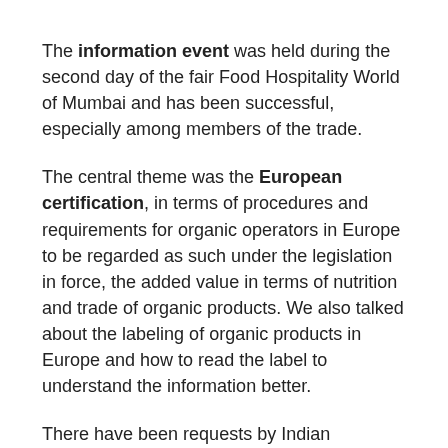The information event was held during the second day of the fair Food Hospitality World of Mumbai and has been successful, especially among members of the trade.
The central theme was the European certification, in terms of procedures and requirements for organic operators in Europe to be regarded as such under the legislation in force, the added value in terms of nutrition and trade of organic products. We also talked about the labeling of organic products in Europe and how to read the label to understand the information better.
There have been requests by Indian producers interested in certifying products according to European standards in order to export raw materials to be transformed.
Print